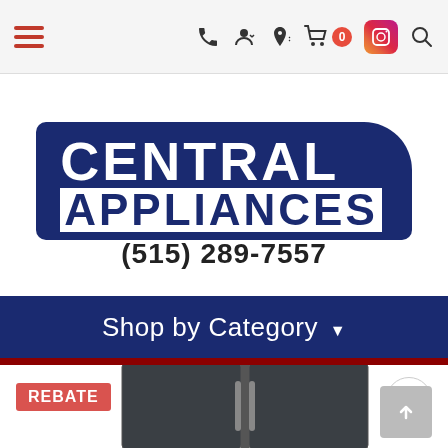Navigation bar with hamburger menu, phone, user, location, cart (0), Instagram, and search icons
[Figure (logo): Central Appliances logo - white text on dark navy blue background with phone number (515) 289-7557]
(515) 289-7557
Shop by Category ▾
REBATE
[Figure (photo): Dark stainless steel side-by-side refrigerator with two handles]